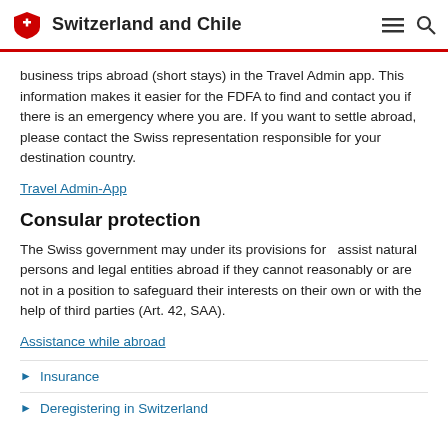Switzerland and Chile
business trips abroad (short stays) in the Travel Admin app. This information makes it easier for the FDFA to find and contact you if there is an emergency where you are. If you want to settle abroad, please contact the Swiss representation responsible for your destination country.
Travel Admin-App
Consular protection
The Swiss government may under its provisions for   assist natural persons and legal entities abroad if they cannot reasonably or are not in a position to safeguard their interests on their own or with the help of third parties (Art. 42, SAA).
Assistance while abroad
Insurance
Deregistering in Switzerland